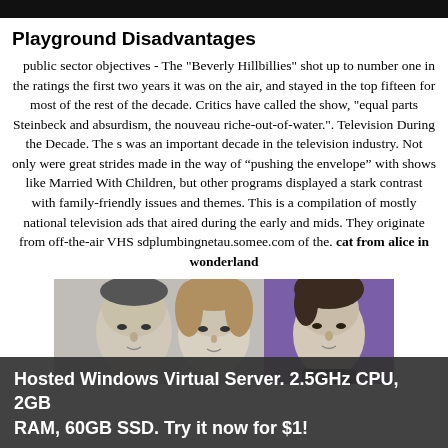Playground Disadvantages
public sector objectives - The "Beverly Hillbillies" shot up to number one in the ratings the first two years it was on the air, and stayed in the top fifteen for most of the rest of the decade. Critics have called the show, "equal parts Steinbeck and absurdism, the nouveau riche-out-of-water.". Television During the Decade. The s was an important decade in the television industry. Not only were great strides made in the way of “pushing the envelope” with shows like Married With Children, but other programs displayed a stark contrast with family-friendly issues and themes. This is a compilation of mostly national television ads that aired during the early and mids. They originate from off-the-air VHS sdplumbingnetau.somee.com of the. cat from alice in wonderland
[Figure (photo): Black and white photo of a man and a woman (couple portrait), alongside a color photo of a young man against a purple background]
Hosted Windows Virtual Server. 2.5GHz CPU, 2GB RAM, 60GB SSD. Try it now for $1!